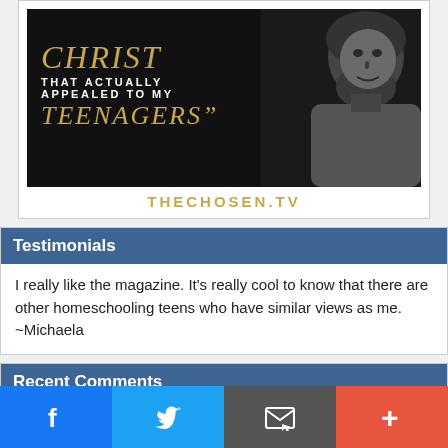[Figure (illustration): Black and white image of a bearded man (depicting Jesus Christ) with gold and white text overlay reading 'CHRIST THAT ACTUALLY APPEALED TO MY TEENAGERS"', and URL THECHOSEN.TV in gold below]
Testimonials
I really like the magazine. It's really cool to know that there are other homeschooling teens who have similar views as me. ~Michaela
Recent Comments
Homeschooling Teen – August/September 2022 - Homeschooling Teen on How To Give Your Homeschooled Teens a Much-Needed Break
Facebook | Twitter | Email | Plus social share buttons